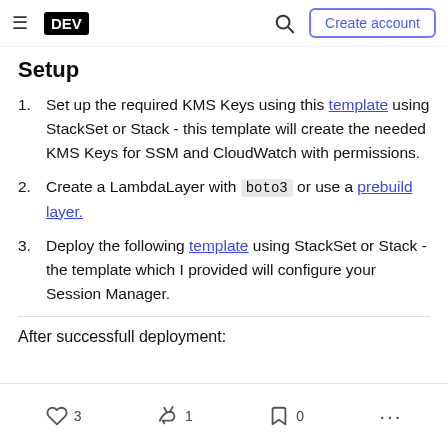DEV | Create account
Setup
Set up the required KMS Keys using this template using StackSet or Stack - this template will create the needed KMS Keys for SSM and CloudWatch with permissions.
Create a LambdaLayer with boto3 or use a prebuild layer.
Deploy the following template using StackSet or Stack - the template which I provided will configure your Session Manager.
After successfull deployment:
3  1  0  ...